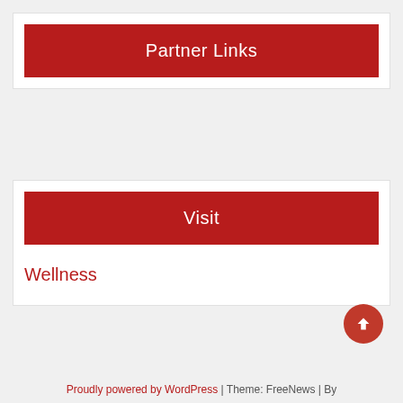Partner Links
Visit
Wellness
Proudly powered by WordPress | Theme: FreeNews | By